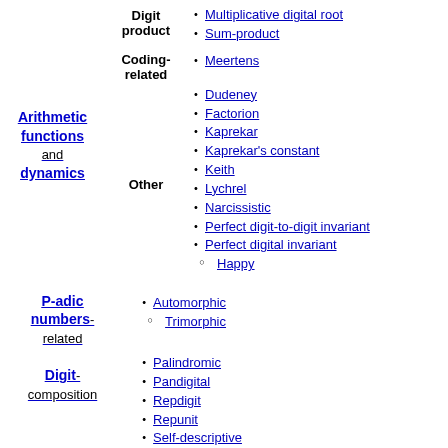Arithmetic functions and dynamics
Digit product
Multiplicative digital root
Sum-product
Coding-related
Meertens
Other
Dudeney
Factorion
Kaprekar
Kaprekar's constant
Keith
Lychrel
Narcissistic
Perfect digit-to-digit invariant
Perfect digital invariant
Happy
P-adic numbers-related
Automorphic
Trimorphic
Digit-composition
Palindromic
Pandigital
Repdigit
Repunit
Self-descriptive